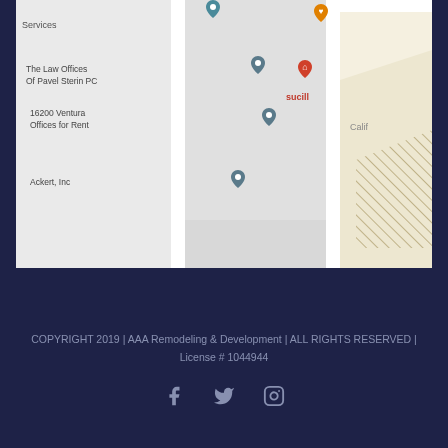[Figure (map): Google Maps screenshot showing location near 16200 Ventura Blvd, Encino CA. Shows The Law Offices Of Pavel Sterin PC, 16200 Ventura Offices for Rent, Ackert Inc, and a partial label 'sucill' and 'Calif'. Multiple map pins are visible.]
COPYRIGHT 2019 | AAA Remodeling & Development | ALL RIGHTS RESERVED | License # 1044944